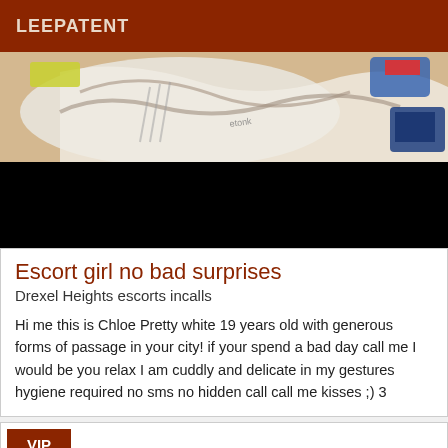LEEPATENT
[Figure (photo): Photo showing cluttered items including bags and packaging on top, with a black censored/redacted section below]
Escort girl no bad surprises
Drexel Heights escorts incalls
Hi me this is Chloe Pretty white 19 years old with generous forms of passage in your city! if your spend a bad day call me I would be you relax I am cuddly and delicate in my gestures hygiene required no sms no hidden call call me kisses ;) 3
VIP